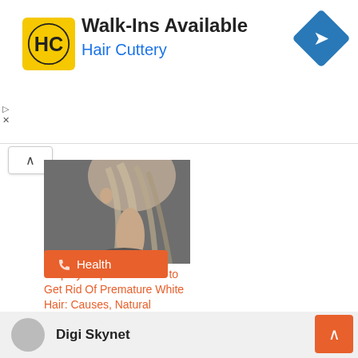[Figure (other): Hair Cuttery advertisement banner with logo, Walk-Ins Available headline, and navigation icon]
[Figure (photo): Woman with long wavy blonde-gray hair seen from behind/side profile]
Step by step instructions to Get Rid Of Premature White Hair: Causes, Natural
In "Beauty"
Health
Digi Skynet